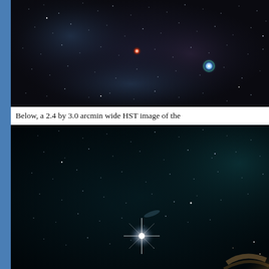[Figure (photo): Top portion of a wide-field astronomical image showing a dark starfield with colorful stars including a bright blue star and a red star, against a dark background with faint nebulosity.]
Below, a 2.4 by 3.0 arcmin wide HST image of the
[Figure (photo): HST (Hubble Space Telescope) image 2.4 by 3.0 arcmin wide showing a deep space field with a very bright star with diffraction spikes in the lower center, distant galaxies, faint stars against a dark background, and a bright nebula or galaxy emerging from the bottom right corner.]